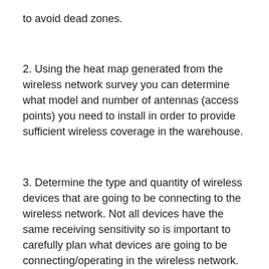to avoid dead zones.
2. Using the heat map generated from the wireless network survey you can determine what model and number of antennas (access points) you need to install in order to provide sufficient wireless coverage in the warehouse.
3. Determine the type and quantity of wireless devices that are going to be connecting to the wireless network. Not all devices have the same receiving sensitivity so is important to carefully plan what devices are going to be connecting/operating in the wireless network.
4. Carefully consider the environment and obstacles that can result in interferences or poor wireless coverage: high ceilings, racks, shelves, pallets,